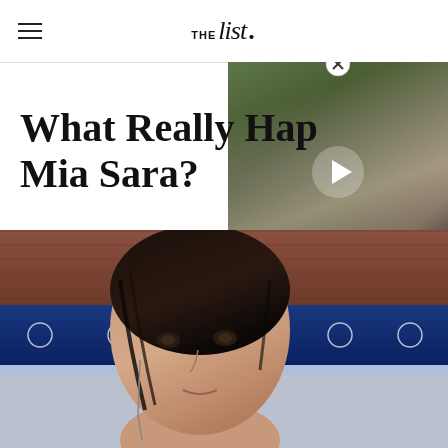THE list.
[Figure (photo): Video thumbnail showing a woman with brown hair looking sideways, with a play button overlay, partially obscured by title text]
What Really Happened To Mia Sara?
[Figure (photo): Close-up photo of a young woman with wet dark hair pulled back, wearing a dangling earring, photographed in front of a decorative blue tile pool wall with brick background]